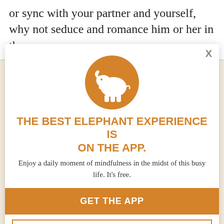or sync with your partner and yourself, why not seduce and romance him or her in the
[Figure (screenshot): App promotion modal overlay with elephant logo, headline, subtitle, and two call-to-action buttons on a beige background with faint italic text]
THE BEST ELEPHANT EXPERIENCE IS ON THE APP.
Enjoy a daily moment of mindfulness in the midst of this busy life. It's free.
GET THE APP
OPEN IN APP